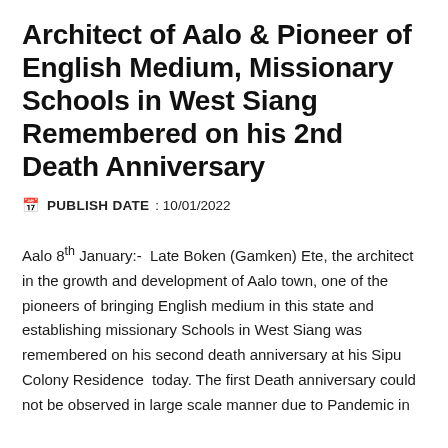Architect of Aalo & Pioneer of English Medium, Missionary Schools in West Siang Remembered on his 2nd Death Anniversary
PUBLISH DATE : 10/01/2022
Aalo 8th January:- Late Boken (Gamken) Ete, the architect in the growth and development of Aalo town, one of the pioneers of bringing English medium in this state and establishing missionary Schools in West Siang was remembered on his second death anniversary at his Sipu Colony Residence today. The first Death anniversary could not be observed in large scale manner due to Pandemic in